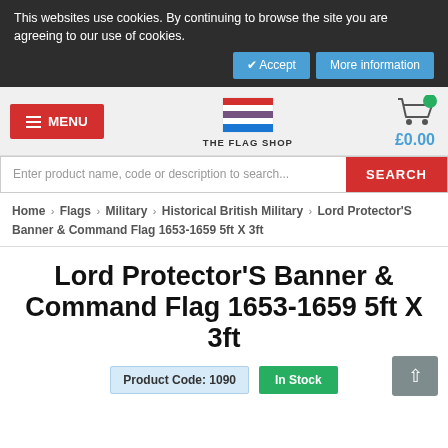This websites use cookies. By continuing to browse the site you are agreeing to our use of cookies.
✔ Accept   More information
[Figure (logo): The Flag Shop logo with flag icon showing red and blue horizontal stripes]
£0.00
Enter product name, code or description to search...   SEARCH
Home › Flags › Military › Historical British Military › Lord Protector'S Banner & Command Flag 1653-1659 5ft X 3ft
Lord Protector'S Banner & Command Flag 1653-1659 5ft X 3ft
Product Code: 1090   In Stock